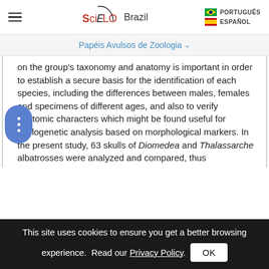SciELO Brazil | PORTUGUÊS | ESPAÑOL
Papéis Avulsos de Zoologia
on the group's taxonomy and anatomy is important in order to establish a secure basis for the identification of each species, including the differences between males, females and specimens of different ages, and also to verify anatomic characters which might be found useful for phylogenetic analysis based on morphological markers. In the present study, 63 skulls of Diomedea and Thalassarche albatrosses were analyzed and compared, thus establishing topographic correspondences and determining primary homologies, these resulting in: (a) the
This site uses cookies to ensure you get a better browsing experience. Read our Privacy Policy.